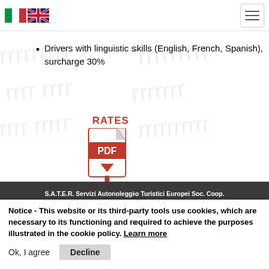[Italian flag] [UK flag] [hamburger menu]
Drivers with linguistic skills (English, French, Spanish), surcharge 30%
[Figure (illustration): Red PDF download icon with 'PDF' text and download arrow, labeled 'RATES' above in red]
S.A.T.E.R. Servizi Autonoleggio Turistici Europei Soc. Coop. Via Licia, 62 00183 Roma | tel.+39 06.77204642 | tel.+39 06.70492812 | fax +39 06.70450388 | info@sateritalia.it | P.IVA 00888671005
Notice - This website or its third-party tools use cookies, which are necessary to its functioning and required to achieve the purposes illustrated in the cookie policy. Learn more
Ok, I agree   Decline